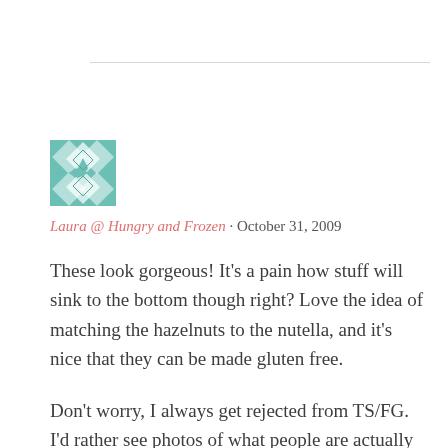[Figure (illustration): Teal/green geometric patterned avatar square image]
Laura @ Hungry and Frozen · October 31, 2009
These look gorgeous! It's a pain how stuff will sink to the bottom though right? Love the idea of matching the hazelnuts to the nutella, and it's nice that they can be made gluten free.

Don't worry, I always get rejected from TS/FG. I'd rather see photos of what people are actually eating when they've made it over